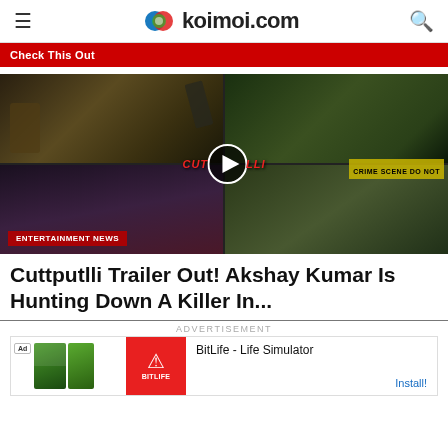koimoi.com
Check This Out
[Figure (screenshot): Cuttputlli movie trailer thumbnail grid showing 4 film stills with play button overlay and movie title overlay. Bottom-left shows action scene, top-right shows police officers, bottom scenes show female actor and children with police. ENTERTAINMENT NEWS label visible at bottom left.]
Cuttputlli Trailer Out! Akshay Kumar Is Hunting Down A Killer In...
ADVERTISEMENT
[Figure (screenshot): Advertisement banner for BitLife - Life Simulator app with install button]